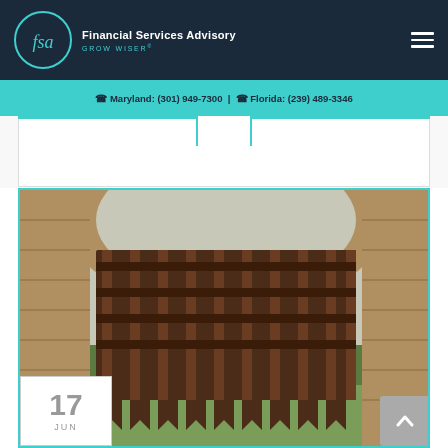[Figure (logo): FSA Financial Services Advisory circular logo with 'GROW WISER' tagline on dark navy background header]
Maryland: (301) 949-7300 | Florida: (239) 489-3346
[Figure (photo): Stone archway/castle gate with a medieval portcullis (metal grid gate with pointed bottom teeth), view of trees and grass beyond, date badge showing 17 JUN in bottom left corner]